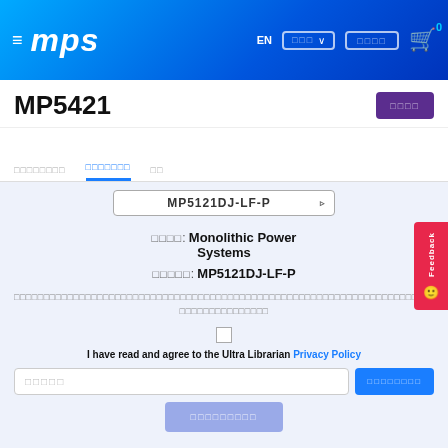MPS — Monolithic Power Systems header navigation
MP5421
□□□□□□□□  □□□□□□□  □□
MP5121DJ-LF-P
□□□□: Monolithic Power Systems
□□□□□: MP5121DJ-LF-P
□□□□□□□□□□□□□□□□□□□□□□□□□□□□□□□□□□□□□□□□□□□□□□□□□□□□□□□□□□□□□□□□□□□□□□□□□□□□□□□□□□□□□□□□□□□□□□□□□□□□□□□□□□□□□□□□□□□□□□□□□□□□□□□□□□□□□□□□□□□□□□□□□□□□□□□□□□□□□□□□□□□□□□□□□□□□□□□□□□□□□□□□□□□□□□□□□□□□□□□□□□□□□□□□□□□□□□□□□□□□□□□
I have read and agree to the Ultra Librarian Privacy Policy
□□□□□  [email input]  □□□□□□□□ [download button]
□□□□□□□□□ [submit button]